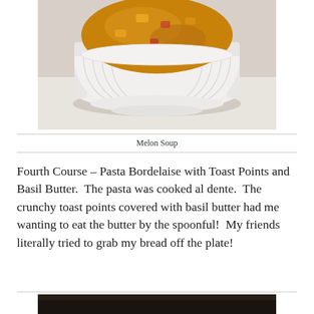[Figure (photo): A white ribbed ceramic ramekin/bowl containing melon soup with visible vegetable pieces in a golden broth, photographed on a white surface.]
Melon Soup
Fourth Course – Pasta Bordelaise with Toast Points and Basil Butter. The pasta was cooked al dente. The crunchy toast points covered with basil butter had me wanting to eat the butter by the spoonful! My friends literally tried to grab my bread off the plate!
[Figure (photo): Partially visible photo at the bottom of the page, appears dark.]